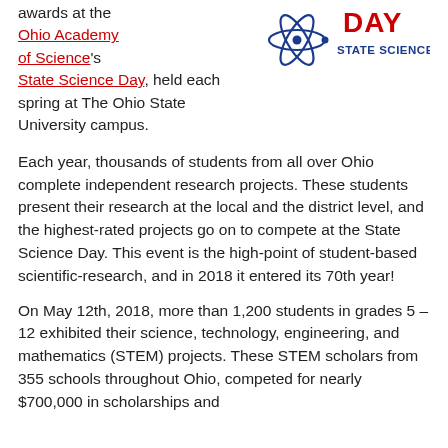awards at the Ohio Academy of Science's State Science Day, held each spring at The Ohio State University campus.
[Figure (logo): Atom/molecule icon and 'STATE SCIENCE DAY' text logo in blue and red]
Each year, thousands of students from all over Ohio complete independent research projects. These students present their research at the local and the district level, and the highest-rated projects go on to compete at the State Science Day. This event is the high-point of student-based scientific-research, and in 2018 it entered its 70th year!
On May 12th, 2018, more than 1,200 students in grades 5 – 12 exhibited their science, technology, engineering, and mathematics (STEM) projects. These STEM scholars from 355 schools throughout Ohio, competed for nearly $700,000 in scholarships and